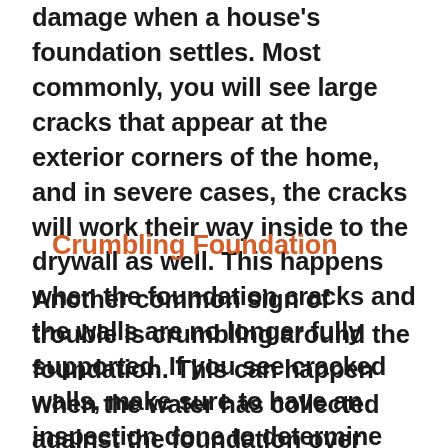damage when a house's foundation settles. Most commonly, you will see large cracks that appear at the exterior corners of the home, and in severe cases, the cracks will work their way inside to the drywall as well. This happens when the foundation cracks and the walls are no longer fully supported. If you see cracked walls, make sure to have an inspection done to determine the depth of the problem and how it can be repaired.
Crumbling Foundation
Another common sign of trouble is crumbling around the foundation. This can happen when the water has collected against the foundation over time, softening the concrete. At first, it may look like just a few loose flakes of concrete on the outside, but a quick inspection with a screwdriver